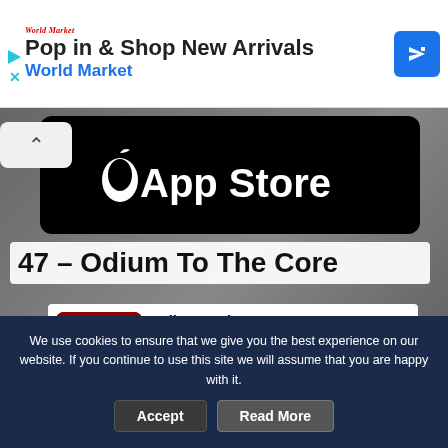[Figure (screenshot): World Market advertisement banner with logo, headline 'Pop in & Shop New Arrivals', 'World Market' subtext in blue, and a blue direction arrow icon]
[Figure (screenshot): Apple App Store black banner logo with apple icon and 'App Store' text]
47 – Odium To The Core
[Figure (screenshot): Google Play Store app listing for 'Odium to the Core' showing app icon (dark splatter on red background), app name, Dark-I and Music tags, Teen rating, star rating, Contains Ads / Offers In-app purchases text, availability notice, and green Install button]
We use cookies to ensure that we give you the best experience on our website. If you continue to use this site we will assume that you are happy with it.
Accept
Read More